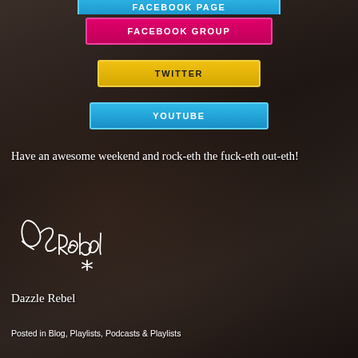[Figure (other): Facebook Page button - blue gradient rounded rectangle with white bold uppercase text 'FACEBOOK PAGE' (partially visible at top)]
[Figure (other): Facebook Group button - pink/magenta gradient rounded rectangle with white bold uppercase text 'FACEBOOK GROUP']
[Figure (other): Twitter button - yellow/gold gradient rounded rectangle with dark bold uppercase text 'TWITTER']
[Figure (other): YouTube button - blue gradient rounded rectangle with white bold uppercase text 'YOUTUBE']
Have an awesome weekend and rock-eth the fuck-eth out-eth!
[Figure (illustration): Handwritten cursive signature reading 'Dazzle Rebel' in white ink]
Dazzle Rebel
Posted in Blog, Playlists, Podcasts & Playlists